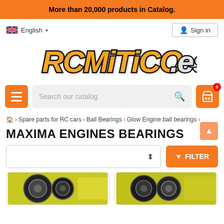More than 20,000 products in Catalog.
English
Sign in
[Figure (logo): RCMiTiCO.es logo in orange and black bold italic lettering]
Search our catalog
Spare parts for RC cars > Ball Bearings > Glow Engine ball bearings >
MAXIMA ENGINES BEARINGS
FILTER
[Figure (photo): Product image left - ball bearings close-up]
[Figure (photo): Product image right - ball bearings close-up]